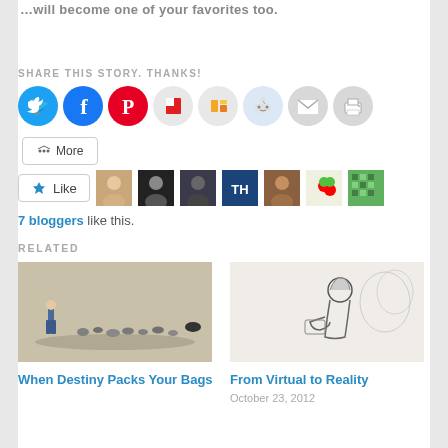...will become one of your favorites too.
SHARE THIS STORY. THANKS!
[Figure (infographic): Row of social sharing icons: Twitter (blue), Facebook (blue), Pinterest (red), Flipboard (red/white), Manmo (orange/yellow), Reddit (light blue), Email (grey), Print (grey)]
[Figure (infographic): More button with share icon]
[Figure (infographic): Like button with star icon, followed by 7 blogger avatar thumbnails]
7 bloggers like this.
RELATED
[Figure (photo): Photo of a person walking with ducks/birds on a sandy surface]
When Destiny Packs Your Bags
[Figure (illustration): Pencil/ink sketch illustration of a woman sitting and writing or reading]
From Virtual to Reality
October 23, 2012